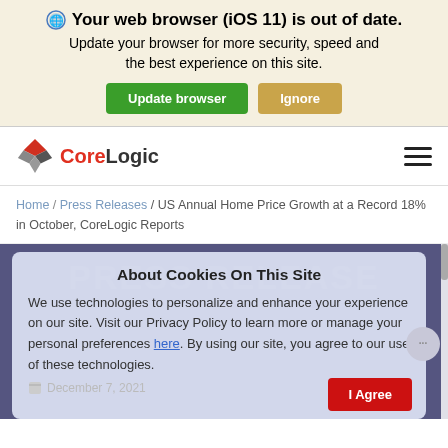[Figure (screenshot): Browser update warning banner with globe icon, bold title 'Your web browser (iOS 11) is out of date.', subtitle text, and two buttons: green 'Update browser' and tan 'Ignore']
[Figure (logo): CoreLogic logo with red and grey diamond shapes and CoreLogic wordmark, plus hamburger menu icon on the right]
Home / Press Releases / US Annual Home Price Growth at a Record 18% in October, CoreLogic Reports
[Figure (screenshot): Cookie consent modal overlay on a dark blue-purple background with 'PRESS RELEASE' watermark. Modal titled 'About Cookies On This Site' with text about personalization, Privacy Policy link, and 'I Agree' red button at bottom. Chat bubble icon visible on right side.]